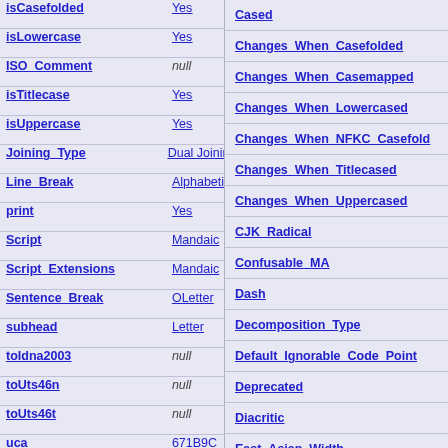| Property | Value | Right Column |
| --- | --- | --- |
| isCasefolded | Yes | Cased |
| isLowercase | Yes | Changes When Casefolded |
| ISO_Comment | null | Changes When Casemapped |
| isTitlecase | Yes | Changes When Lowercased |
| isUppercase | Yes | Changes When NFKC Casefold |
| Joining_Type | Dual Joining | Changes When Titlecased |
| Line_Break | Alphabetic | Changes When Uppercased |
| print | Yes | CJK_Radical |
| Script | Mandaic | Confusable_MA |
| Script_Extensions | Mandaic | Dash |
| Sentence_Break | OLetter | Decomposition_Type |
| subhead | Letter | Default_Ignorable_Code_Point |
| toIdna2003 | null | Deprecated |
| toUts46n | null | Diacritic |
| toUts46t | null | East_Asian_Width |
| uca | 671B9C | Emoji |
| uca2 | 05 | Emoji_Component |
| uca2.5 | 01 | Emoji_Keycap_Sequence |
| uca3 | 05 | Emoji_Modifier |
| Unicode_1_Name | null | Emoji_Modifier_Base |
| uts46 | valid | Emoji_Presentation |
| Word_Break | ALetter | Equivalent_Unified_Ideograph |